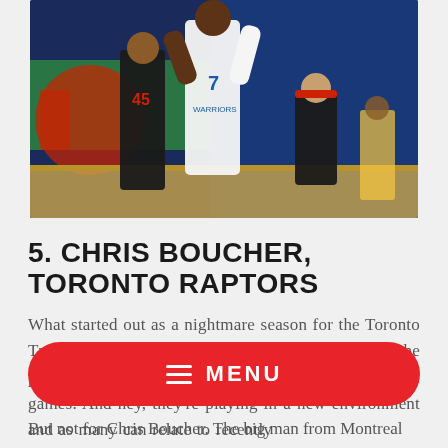[Figure (photo): Basketball game action photo showing Golden State Warriors player (#7) shooting over Toronto Raptors defenders in black uniforms]
5. CHRIS BOUCHER, TORONTO RAPTORS
What started out as a nightmare season for the Toronto Tampa Bay Raptors is starting to turn around in the past two weeks as they've won five of their past seven games. And hey, they're playing in a new environment and as many can relate to recently
But not for Chris Boucher. The big man from Montreal